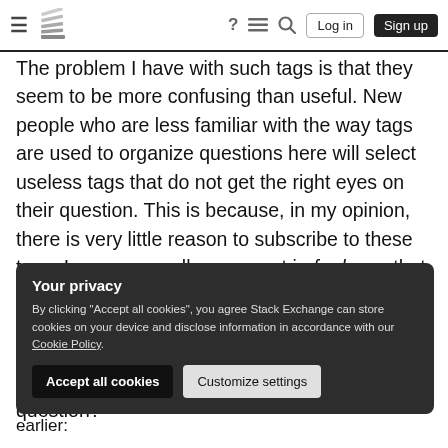Stack Exchange navigation bar with hamburger, logo, help, chat, search, Log in, Sign up
The problem I have with such tags is that they seem to be more confusing than useful. New people who are less familiar with the way tags are used to organize questions here will select useless tags that do not get the right eyes on their question. This is because, in my opinion, there is very little reason to subscribe to these tags. Is anyone really an expert in for loops that answers questions about them, regardless of language? How many problems are really caused by offsets that can't be adequately described in the title or the body of the question?
Your privacy
By clicking "Accept all cookies", you agree Stack Exchange can store cookies on your device and disclose information in accordance with our Cookie Policy.
Accept all cookies   Customize settings
earlier: